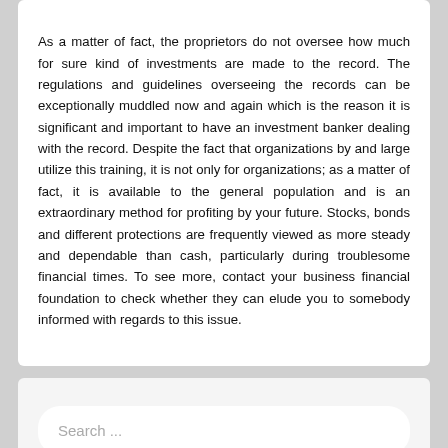As a matter of fact, the proprietors do not oversee how much for sure kind of investments are made to the record. The regulations and guidelines overseeing the records can be exceptionally muddled now and again which is the reason it is significant and important to have an investment banker dealing with the record. Despite the fact that organizations by and large utilize this training, it is not only for organizations; as a matter of fact, it is available to the general population and is an extraordinary method for profiting by your future. Stocks, bonds and different protections are frequently viewed as more steady and dependable than cash, particularly during troublesome financial times. To see more, contact your business financial foundation to check whether they can elude you to somebody informed with regards to this issue.
Search ...